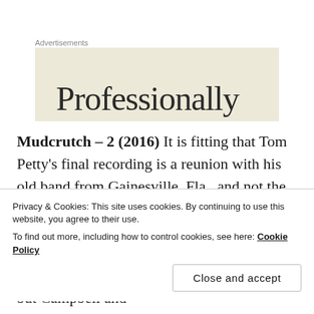Advertisements
[Figure (other): Advertisement banner with partial text 'Professionally' visible on a beige/tan background]
Mudcrutch – 2 (2016) It is fitting that Tom Petty's final recording is a reunion with his old band from Gainesville, Fla., and not the Heartbreakers. It is also fitting that guitarist Mike Campbell and keyboard player Benmont Tench are the backbone of both bands. Petty's name was always out front, but Campbell and
Privacy & Cookies: This site uses cookies. By continuing to use this website, you agree to their use.
To find out more, including how to control cookies, see here: Cookie Policy